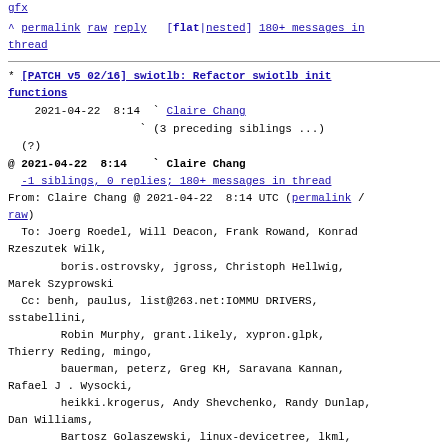gfx
^ permalink raw reply   [flat|nested] 180+ messages in thread
* [PATCH v5 02/16] swiotlb: Refactor swiotlb init functions
  2021-04-22  8:14 ` Claire Chang
                    ` (3 preceding siblings ...)
  (?)
@ 2021-04-22  8:14   ` Claire Chang
  -1 siblings, 0 replies; 180+ messages in thread
From: Claire Chang @ 2021-04-22  8:14 UTC (permalink / raw)
  To: Joerg Roedel, Will Deacon, Frank Rowand, Konrad Rzeszutek Wilk,
        boris.ostrovsky, jgross, Christoph Hellwig, Marek Szyprowski
  Cc: benh, paulus, list@263.net:IOMMU DRIVERS, sstabellini,
        Robin Murphy, grant.likely, xypron.glpk, Thierry Reding, mingo,
        bauerman, peterz, Greg KH, Saravana Kannan, Rafael J . Wysocki,
        heikki.krogerus, Andy Shevchenko, Randy Dunlap, Dan Williams,
        Bartosz Golaszewski, linux-devicetree, lkml, linuxppc-dev,
        xen-devel, Nicolas Boichat, Jim Quinlan, tfiga,